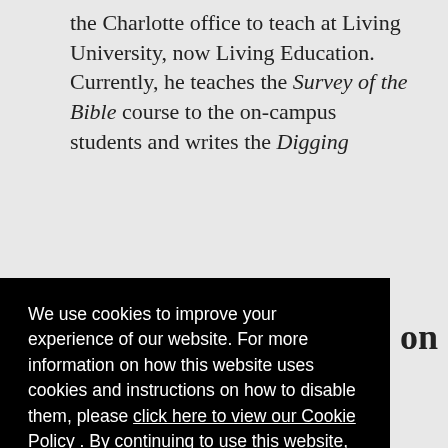the Charlotte office to teach at Living University, now Living Education. Currently, he teaches the Survey of the Bible course to the on-campus students and writes the Digging
We use cookies to improve your experience of our website. For more information on how this website uses cookies and instructions on how to disable them, please click here to view our Cookie Policy . By continuing to use this website, you are consenting to the website's use of cookies.
Got It!